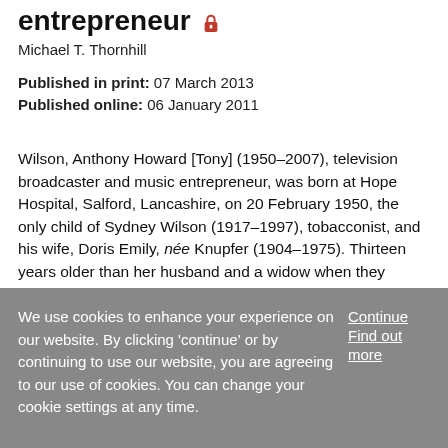entrepreneur
Michael T. Thornhill
Published in print: 07 March 2013
Published online: 06 January 2011
Wilson, Anthony Howard [Tony] (1950–2007), television broadcaster and music entrepreneur, was born at Hope Hospital, Salford, Lancashire, on 20 February 1950, the only child of Sydney Wilson (1917–1997), tobacconist, and his wife, Doris Emily, née Knupfer (1904–1975). Thirteen years older than her husband and a widow when they married in 1948, ...
We use cookies to enhance your experience on our website. By clicking 'continue' or by continuing to use our website, you are agreeing to our use of cookies. You can change your cookie settings at any time.
Continue
Find out more